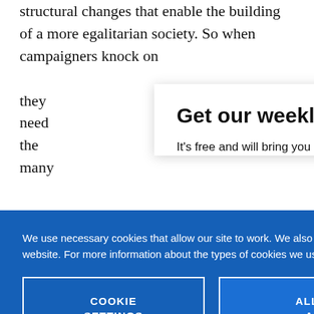structural changes that enable the building of a more egalitarian society. So when campaigners knock on they need the many
Get our weekly email
It's free and will bring you the best from
We use necessary cookies that allow our site to work. We also set optional cookies that help us improve our website. For more information about the types of cookies we use. READ OUR COOKIES POLICY HERE
COOKIE SETTINGS
ALLOW ALL COOKIES
data.
welcomed